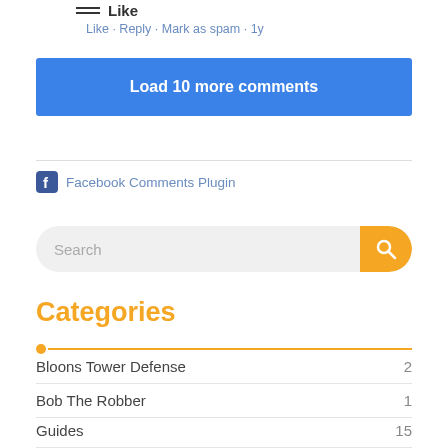Like
Like · Reply · Mark as spam · 1y
Load 10 more comments
Facebook Comments Plugin
Search
Categories
Bloons Tower Defense  2
Bob The Robber  1
Guides  15